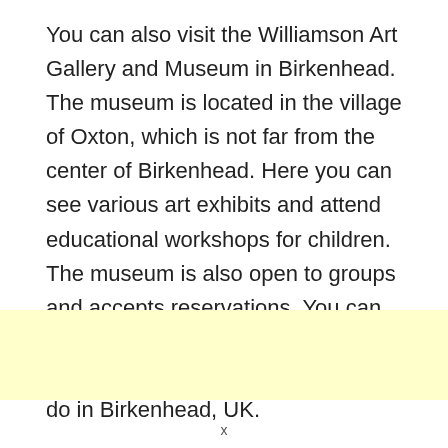You can also visit the Williamson Art Gallery and Museum in Birkenhead. The museum is located in the village of Oxton, which is not far from the center of Birkenhead. Here you can see various art exhibits and attend educational workshops for children. The museum is also open to groups and accepts reservations. You can also check out local history through its museums. There are many things to do in Birkenhead, UK.
[Figure (other): Yellow highlighted rectangular box area]